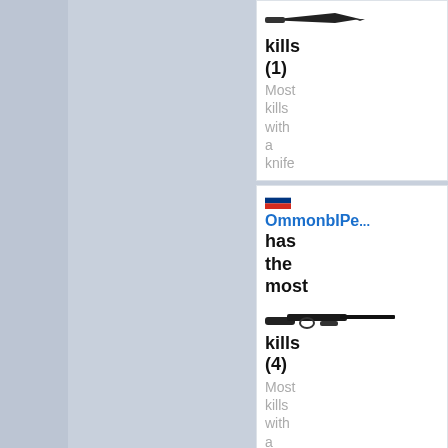[Figure (screenshot): Game stats panel showing player kill statistics. Two player cards visible: 1) A card with a knife weapon image, showing 'kills (1)' and 'Most kills with a knife'. 2) A card showing Russian flag, player name 'OmmonblPe...', 'has the most', shotgun/m3 weapon image, 'kills (4)', 'Most kills with a m3'. 3) Partial card at bottom showing Russian flag, player 'Kyu_>l<eJle3...', 'has the']